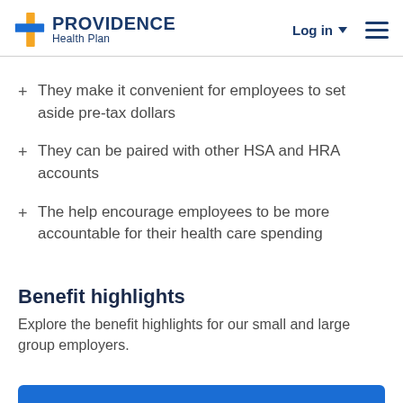Providence Health Plan — Log in
They make it convenient for employees to set aside pre-tax dollars
They can be paired with other HSA and HRA accounts
The help encourage employees to be more accountable for their health care spending
Benefit highlights
Explore the benefit highlights for our small and large group employers.